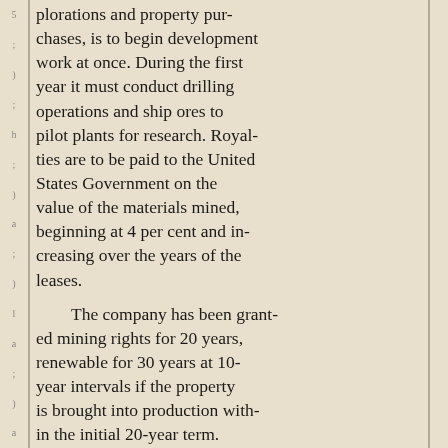plorations and property purchases, is to begin development work at once. During the first year it must conduct drilling operations and ship ores to pilot plants for research. Royalties are to be paid to the United States Government on the value of the materials mined, beginning at 4 per cent and increasing over the years of the leases.
The company has been granted mining rights for 20 years, renewable for 30 years at 10-year intervals if the property is brought into production within the initial 20-year term.
Mr. Wingate said he expected